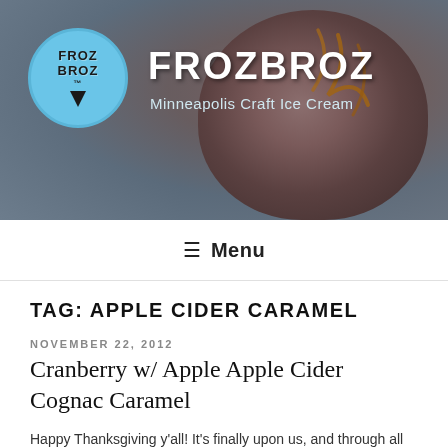[Figure (photo): FrozBroz website header banner with ice cream scoop photo background, circular logo on left with 'FROZBROZ' text in cyan/light blue circle, site title 'FROZBROZ' in large white bold text, subtitle 'Minneapolis Craft Ice Cream' below]
≡ Menu
TAG: APPLE CIDER CARAMEL
NOVEMBER 22, 2012
Cranberry w/ Apple Apple Cider Cognac Caramel
Happy Thanksgiving y'all! It's finally upon us, and through all it's traditions, the one that we'd like to focus on is the Fall harvest. After kicking off the pre-Thanksgiving party with our Roasted Pear w/ Brown Butter Caramel...